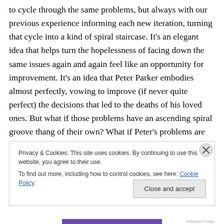to cycle through the same problems, but always with our previous experience informing each new iteration, turning that cycle into a kind of spiral staircase. It's an elegant idea that helps turn the hopelessness of facing down the same issues again and again feel like an opportunity for improvement. It's an idea that Peter Parker embodies almost perfectly, vowing to improve (if never quite perfect) the decisions that led to the deaths of his loved ones. But what if those problems have an ascending spiral groove thang of their own? What if Peter's problems are getting smarter and more mature along with him? That's exactly
Privacy & Cookies: This site uses cookies. By continuing to use this website, you agree to their use.
To find out more, including how to control cookies, see here: Cookie Policy